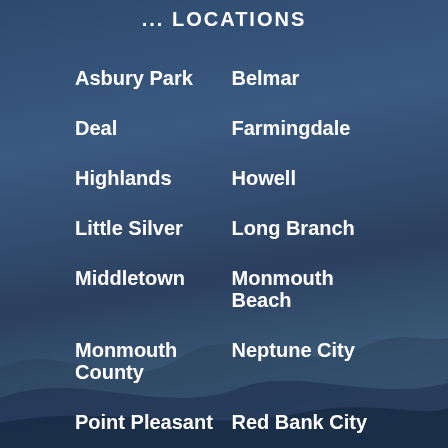... LOCATIONS
Asbury Park
Belmar
Deal
Farmingdale
Highlands
Howell
Little Silver
Long Branch
Middletown
Monmouth Beach
Monmouth County
Neptune City
Point Pleasant
Red Bank City
Rumson
Spring Lake